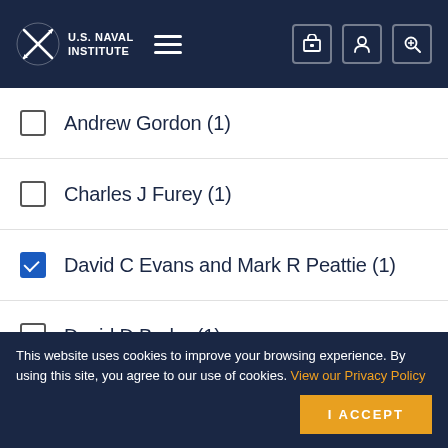U.S. Naval Institute
Andrew Gordon (1)
Charles J Furey (1)
David C Evans and Mark R Peattie (1)
David D Bruhn (1)
Dennis L Noble (1)
Edited by CDR Richard R Hobbs USNR Ret (1)
This website uses cookies to improve your browsing experience. By using this site, you agree to our use of cookies. View our Privacy Policy
I ACCEPT